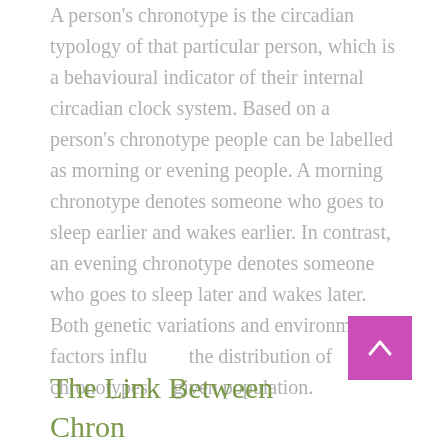A person's chronotype is the circadian typology of that particular person, which is a behavioural indicator of their internal circadian clock system. Based on a person's chronotype people can be labelled as morning or evening people. A morning chronotype denotes someone who goes to sleep earlier and wakes earlier. In contrast, an evening chronotype denotes someone who goes to sleep later and wakes later. Both genetic variations and environmental factors influence the distribution of chronotypes in a given population.
The Link Between Chronotypes and Diet